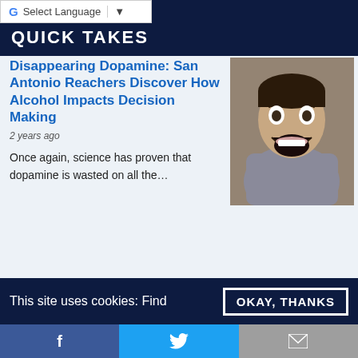Select Language
QUICK TAKES
Disappearing Dopamine: San Antonio Reachers Discover How Alcohol Impacts Decision Making
2 years ago
[Figure (photo): Man with exaggerated open-mouthed expression, wearing a grey sweatshirt]
Once again, science has proven that dopamine is wasted on all the…
Fall Detection with the Apple Watch
3 years ago
[Figure (screenshot): Apple Watch screen showing fall detection alert: Close 10:09, It looks like you've taken a hard fall. SOS EMERGENCY SOS button, with scroll up arrow]
During the recent Apple product update
This site uses cookies: Find
OKAY, THANKS
f   Twitter bird icon   Mail icon